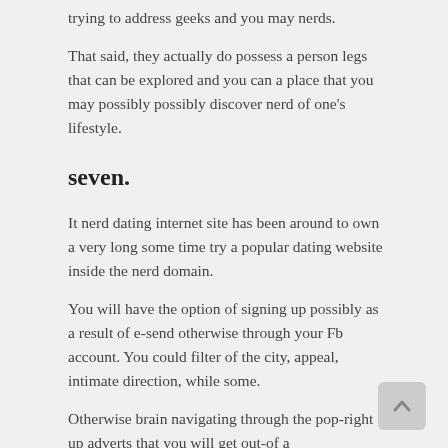trying to address geeks and you may nerds.
That said, they actually do possess a person legs that can be explored and you can a place that you may possibly possibly discover nerd of one's lifestyle.
seven.
It nerd dating internet site has been around to own a very long some time try a popular dating website inside the nerd domain.
You will have the option of signing up possibly as a result of e-send otherwise through your Fb account. You could filter of the city, appeal, intimate direction, while some.
Otherwise brain navigating through the pop-right up adverts that you will get out-of a